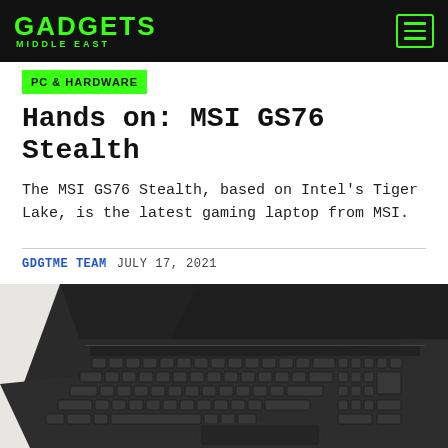GADGETS MIDDLE EAST
PC & HARDWARE
Hands on: MSI GS76 Stealth
The MSI GS76 Stealth, based on Intel's Tiger Lake, is the latest gaming laptop from MSI.
GDGTME TEAM   JULY 17, 2021
[Figure (photo): Top-down angled view of MSI GS76 Stealth gaming laptop keyboard and trackpad on white surface]